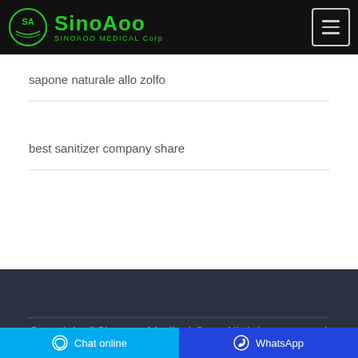[Figure (logo): Sinoaoo Medical Corp logo with circular SA emblem and green text on black header background]
sapone naturale allo zolfo
best sanitizer company share
Copyright ©Sinoaoo Medical Corp All rights reserved
Chat online   WhatsApp